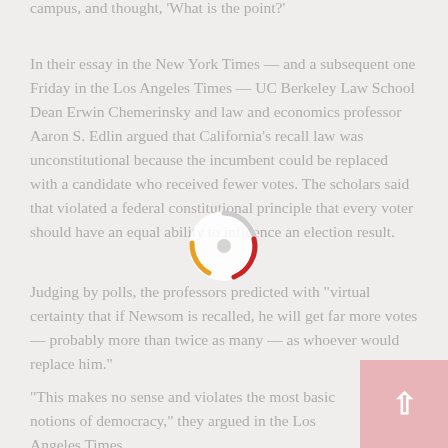campus, and thought, 'What is the point?'
In their essay in the New York Times — and a subsequent one Friday in the Los Angeles Times — UC Berkeley Law School Dean Erwin Chemerinsky and law and economics professor Aaron S. Edlin argued that California's recall law was unconstitutional because the incumbent could be replaced with a candidate who received fewer votes. The scholars said that violated a federal constitutional principle that every voter should have an equal ability to influence an election result.
Judging by polls, the professors predicted with "virtual certainty that if Newsom is recalled, he will get far more votes — probably more than twice as many — as whoever would replace him."
"This makes no sense and violates the most basic notions of democracy," they argued in the Los Angeles Times.